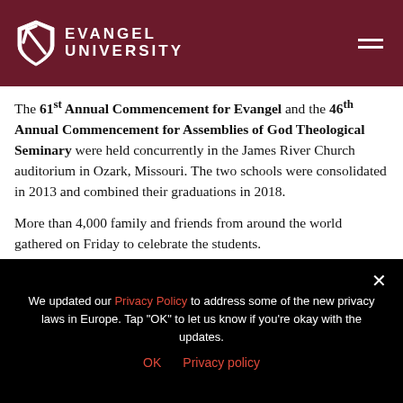Evangel University
The 61st Annual Commencement for Evangel and the 46th Annual Commencement for Assemblies of God Theological Seminary were held concurrently in the James River Church auditorium in Ozark, Missouri. The two schools were consolidated in 2013 and combined their graduations in 2018.
More than 4,000 family and friends from around the world gathered on Friday to celebrate the students.
There were 511 graduates earning 32 doctoral, 105
We updated our Privacy Policy to address some of the new privacy laws in Europe. Tap "OK" to let us know if you're okay with the updates.